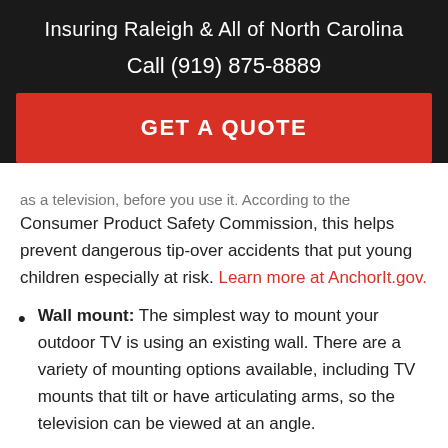Insuring Raleigh & All of North Carolina
Call (919) 875-8889
GET A QUOTE
as a television, before you use it. According to the Consumer Product Safety Commission, this helps prevent dangerous tip-over accidents that put young children especially at risk. Learn more at AnchorIt.gov.
Wall mount: The simplest way to mount your outdoor TV is using an existing wall. There are a variety of mounting options available, including TV mounts that tilt or have articulating arms, so the television can be viewed at an angle.